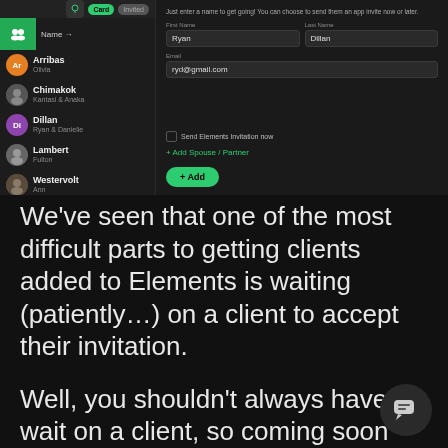[Figure (screenshot): Dark-themed app UI screenshot showing a client list on the left (Arribas/Olivia, Chimakok/Kantasi & Anaka, Dillan/Ryan & Danielle, Lambert/Fulton, Westervolt/Ann) and an add client form on the right with fields for First Name (Ryan), Last Name (Dillan), Email (ryd@gmail.com), Send Elements Invitation checkbox, Add Spouse/Partner link, and an Add button.]
We've seen that one of the most difficult parts to getting clients added to Elements is waiting (patiently…) on a client to accept their invitation.
Well, you shouldn't always have to wait on a client, so coming soon will be the ability to create clients in Elements without having to send a client invite.